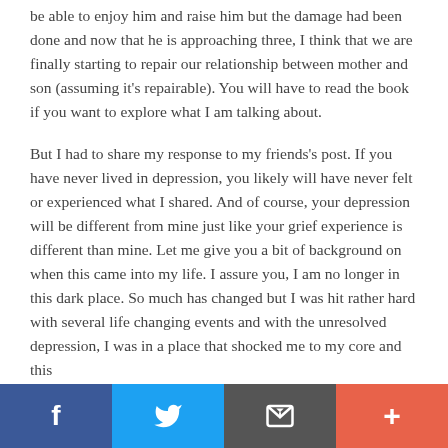be able to enjoy him and raise him but the damage had been done and now that he is approaching three, I think that we are finally starting to repair our relationship between mother and son (assuming it's repairable). You will have to read the book if you want to explore what I am talking about.
But I had to share my response to my friends's post. If you have never lived in depression, you likely will have never felt or experienced what I shared. And of course, your depression will be different from mine just like your grief experience is different than mine. Let me give you a bit of background on when this came into my life. I assure you, I am no longer in this dark place. So much has changed but I was hit rather hard with several life changing events and with the unresolved depression, I was in a place that shocked me to my core and this
Facebook | Twitter | Email | More